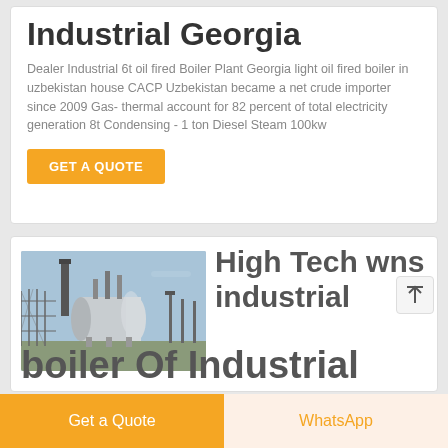Industrial Georgia
Dealer Industrial 6t oil fired Boiler Plant Georgia light oil fired boiler in uzbekistan house CACP Uzbekistan became a net crude importer since 2009 Gas- thermal account for 82 percent of total electricity generation 8t Condensing - 1 ton Diesel Steam 100kw
GET A QUOTE
[Figure (photo): Industrial WNS boiler / horizontal oil-gas fired steam boiler mounted outdoors at an industrial facility]
High Tech wns industrial boiler Of Industrial